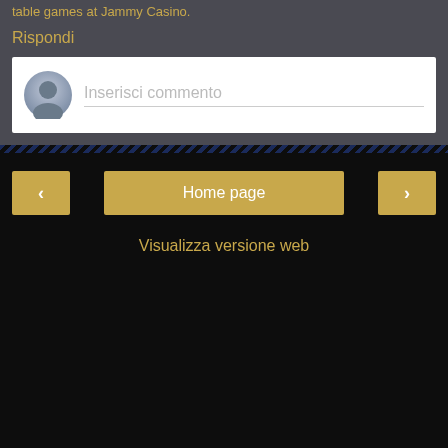table games at Jammy Casino.
Rispondi
[Figure (screenshot): Comment input box with avatar placeholder and 'Inserisci commento' placeholder text]
Home page
Visualizza versione web